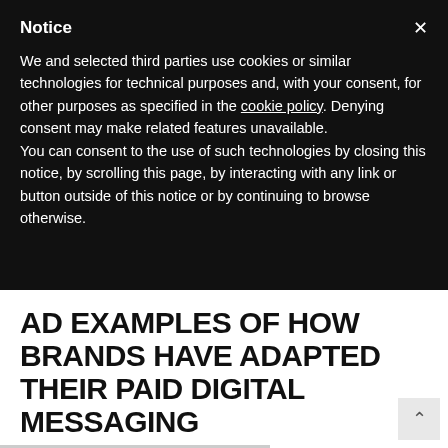Notice
We and selected third parties use cookies or similar technologies for technical purposes and, with your consent, for other purposes as specified in the cookie policy. Denying consent may make related features unavailable.
You can consent to the use of such technologies by closing this notice, by scrolling this page, by interacting with any link or button outside of this notice or by continuing to browse otherwise.
AD EXAMPLES OF HOW BRANDS HAVE ADAPTED THEIR PAID DIGITAL MESSAGING
In ad example from TruEarth, they are acknowledging the situation, relating to their customers anxiety and struggles and also offering a giveback with purchase. #winning